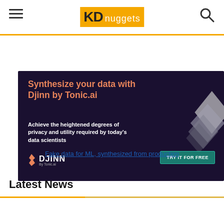KD nuggets
[Figure (illustration): Advertisement for Djinn by Tonic.ai - dark purple background with geometric diamond shapes, orange/salmon headline text reading 'Synthesize your data with Djinn by Tonic.ai', white body text 'Achieve the heightened degrees of privacy and utility required by today's data scientists', Djinn logo and 'TRY IT FOR FREE' button]
Fake data for ML, synthesized from production
Latest News